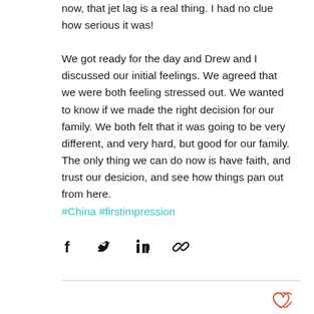now, that jet lag is a real thing. I had no clue how serious it was!
We got ready for the day and Drew and I discussed our initial feelings. We agreed that we were both feeling stressed out. We wanted to know if we made the right decision for our family. We both felt that it was going to be very different, and very hard, but good for our family. The only thing we can do now is have faith, and trust our desicion, and see how things pan out from here. #China #firstimpression
[Figure (infographic): Social share bar with Facebook, Twitter, LinkedIn, and link icons]
[Figure (infographic): Heart/like icon at bottom right]